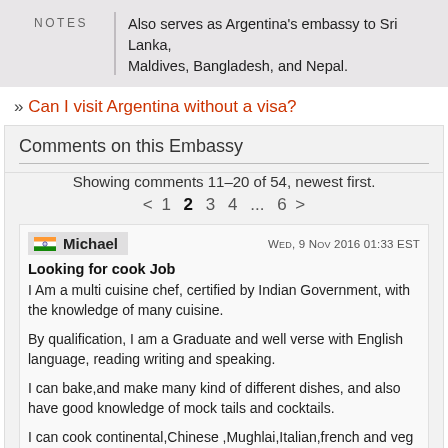| NOTES |  |
| --- | --- |
| Also serves as Argentina's embassy to Sri Lanka, Maldives, Bangladesh, and Nepal. |  |
» Can I visit Argentina without a visa?
Comments on this Embassy
Showing comments 11–20 of 54, newest first.
< 1 2 3 4 ... 6 >
Michael — Wed, 9 Nov 2016 01:33 EST
Looking for cook Job
I Am a multi cuisine chef, certified by Indian Government, with the knowledge of many cuisine.

By qualification, I am a Graduate and well verse with English language, reading writing and speaking.

I can bake,and make many kind of different dishes, and also have good knowledge of mock tails and cocktails.

I can cook continental,Chinese ,Mughlai,Italian,french and veg delight etc.